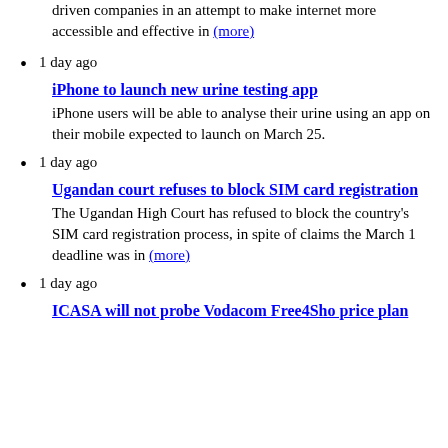driven companies in an attempt to make internet more accessible and effective in (more)
1 day ago
iPhone to launch new urine testing app
iPhone users will be able to analyse their urine using an app on their mobile expected to launch on March 25.
1 day ago
Ugandan court refuses to block SIM card registration
The Ugandan High Court has refused to block the country's SIM card registration process, in spite of claims the March 1 deadline was in (more)
1 day ago
ICASA will not probe Vodacom Free4Sho price plan